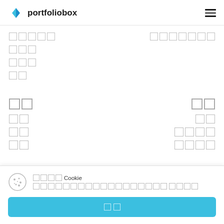portfoliobox
□□□□□  □□□□□□□
□□□
□□□
□□
□□  □□
□□  □□
□□  □□□□
□□  □□□□
□□□□ Cookie □□□□□□□□□□□□□□□□□□ □□□□
□□